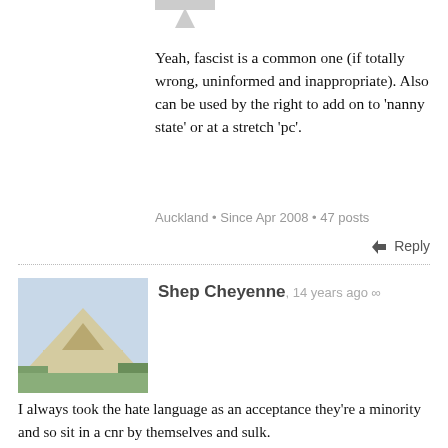[Figure (photo): Speech bubble arrow pointing upward at top of page]
Yeah, fascist is a common one (if totally wrong, uninformed and inappropriate). Also can be used by the right to add on to 'nanny state' or at a stretch 'pc'.
Auckland • Since Apr 2008 • 47 posts
Reply
[Figure (photo): Avatar photo of Shep Cheyenne showing a building with a slanted roof structure in a garden]
Shep Cheyenne, 14 years ago ∞
I always took the hate language as an acceptance they're a minority and so sit in a cnr by themselves and sulk.
It's pretty poisonous stuff & I would have thought repulsive language to post regardless of politics.
ZAP aren't too bad these days, as far as their Belfast opperations go. Grandad backs onto them and they were a 24hr op with tractors & bulldozers going full light & noise but they've toned down. I don't know their politics but at least the keep to normal